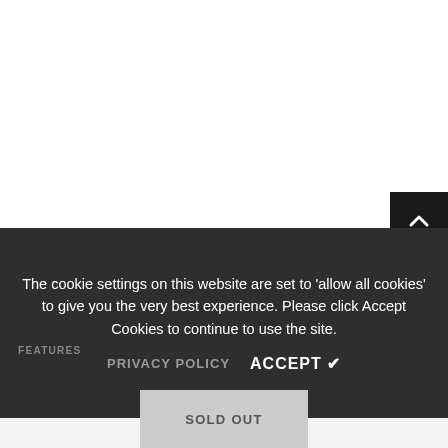[Figure (other): Scroll-to-top button: dark square with upward chevron arrow icon, positioned at top-right]
The cookie settings on this website are set to 'allow all cookies' to give you the very best experience. Please click Accept Cookies to continue to use the site.
FEATURES
PRIVACY POLICY
ACCEPT ✔
SOLD OUT